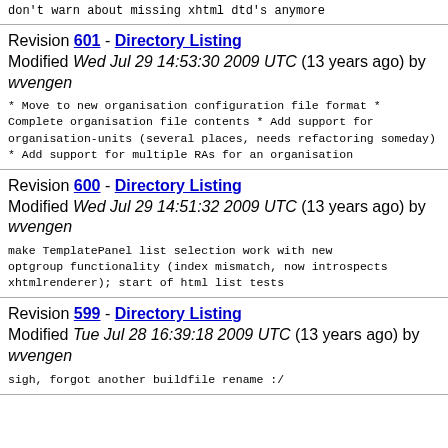don't warn about missing xhtml dtd's anymore
Revision 601 - Directory Listing
Modified Wed Jul 29 14:53:30 2009 UTC (13 years ago) by wvengen
* Move to new organisation configuration file format
* Complete organisation file contents
* Add support for organisation-units (several places, needs refactoring someday)
* Add support for multiple RAs for an organisation
Revision 600 - Directory Listing
Modified Wed Jul 29 14:51:32 2009 UTC (13 years ago) by wvengen
make TemplatePanel list selection work with new optgroup functionality (index mismatch, now introspects xhtmlrenderer); start of html list tests
Revision 599 - Directory Listing
Modified Tue Jul 28 16:39:18 2009 UTC (13 years ago) by wvengen
sigh, forgot another buildfile rename :/